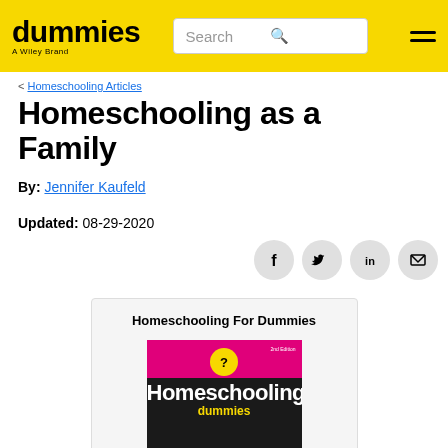dummies — A Wiley Brand | Search | Menu
< Homeschooling Articles
Homeschooling as a Family
By: Jennifer Kaufeld
Updated: 08-29-2020
[Figure (illustration): Social share buttons for Facebook, Twitter, LinkedIn, and Email]
[Figure (photo): Book cover of Homeschooling For Dummies showing the title on a black and magenta background with the Dummies logo]